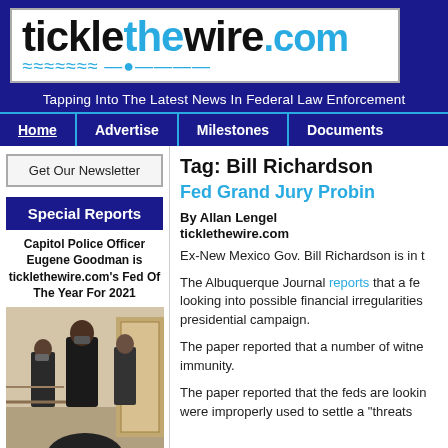[Figure (logo): ticklethewire.com logo with blue and black text on white background, dark blue banner background]
Tapping Into The Latest News In Federal Law Enforcement
Home | Advertise | Milestones | Documents
Get Our Newsletter
Special Reports
Capitol Police Officer Eugene Goodman is ticklethewire.com's Fed Of The Year For 2021
[Figure (photo): Photo of Capitol Police Officer Eugene Goodman in a hallway]
Tag: Bill Richardson
Fed Grand Jury Probin
By Allan Lengel
ticklethewire.com
Ex-New Mexico Gov. Bill Richardson is in t
The Albuquerque Journal reports that a fe looking into possible financial irregularities presidential campaign.
The paper reported that a number of witne immunity.
The paper reported that the feds are lookin were improperly used to settle a "threats